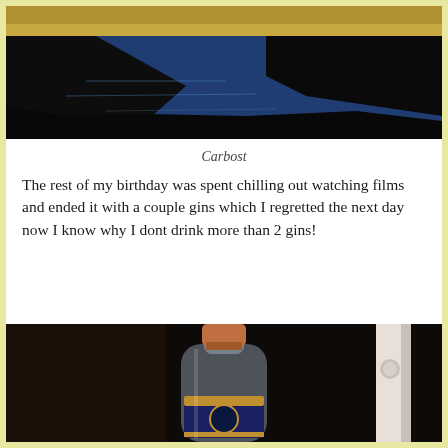[Figure (photo): Landscape photo of Carbost showing a reflective loch or water body with dark silhouetted land and golden reeds at top, blue sky reflection below]
Carbost
The rest of my birthday was spent chilling out watching films and ended it with a couple gins which I regretted the next day now I know why I dont drink more than 2 gins!
[Figure (photo): Photo of a gin bottle with a copper/bronze cap and decorative label with a ram logo, set against a dark background]